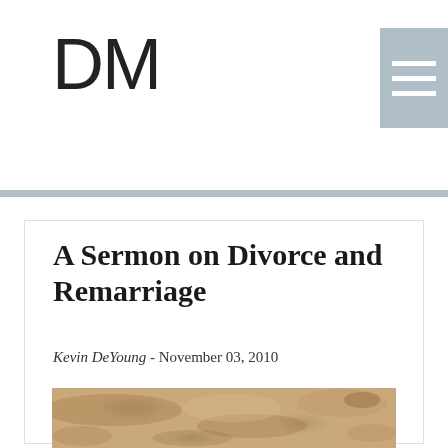DM
A Sermon on Divorce and Remarriage
Kevin DeYoung - November 03, 2010
[Figure (photo): A close-up photo of sandy, rocky ground with dry soil and small pebbles, warm earth tones.]